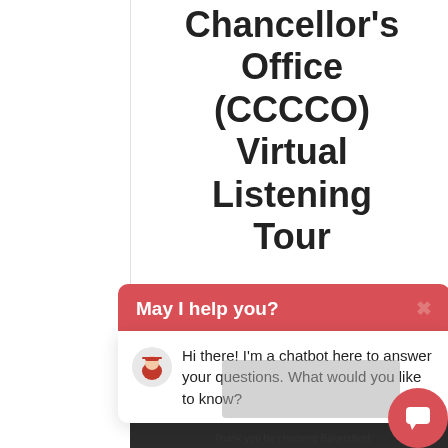Chancellor's Office (CCCCO) Virtual Listening Tour
October 26, 2020
[Figure (screenshot): Chatbot widget overlay showing 'May I help you?' header in red with close X button, and message: 'Hi there! I'm a chatbot here to answer your questions. What would you like to know?' with mascot avatar icon. A gray tooltip overlay and red chat button are also visible.]
Thank you for choosing Bakersfield College!